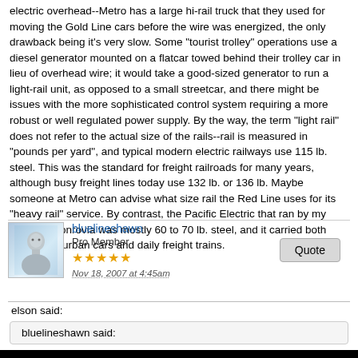electric overhead--Metro has a large hi-rail truck that they used for moving the Gold Line cars before the wire was energized, the only drawback being it's very slow. Some "tourist trolley" operations use a diesel generator mounted on a flatcar towed behind their trolley car in lieu of overhead wire; it would take a good-sized generator to run a light-rail unit, as opposed to a small streetcar, and there might be issues with the more sophisticated control system requiring a more robust or well regulated power supply. By the way, the term "light rail" does not refer to the actual size of the rails--rail is measured in "pounds per yard", and typical modern electric railways use 115 lb. steel. This was the standard for freight railroads for many years, although busy freight lines today use 132 lb. or 136 lb. Maybe someone at Metro can advise what size rail the Red Line uses for its "heavy rail" service. By contrast, the Pacific Electric that ran by my home in Monrovia was mostly 60 to 70 lb. steel, and it carried both heavy interurban cars and daily freight trains.
bluelineshawn
Pro Member
Nov 18, 2007 at 4:45am
elson said:
bluelineshawn said: